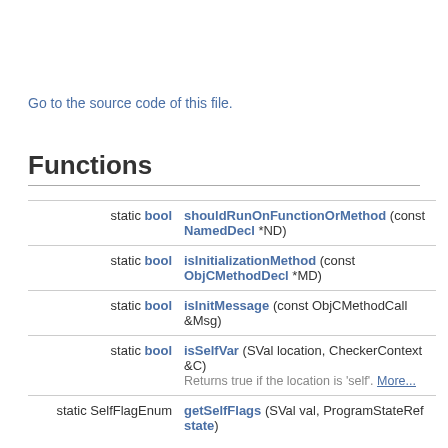Go to the source code of this file.
Functions
|  |  |
| --- | --- |
| static bool | shouldRunOnFunctionOrMethod (const NamedDecl *ND) |
| static bool | isInitializationMethod (const ObjCMethodDecl *MD) |
| static bool | isInitMessage (const ObjCMethodCall &Msg) |
| static bool | isSelfVar (SVal location, CheckerContext &C)
Returns true if the location is 'self'. More... |
| static SelfFlagEnum | getSelfFlags (SVal val, ProgramStateRef state) |